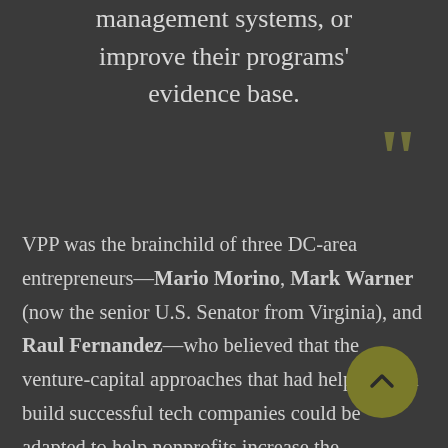management systems, or improve their programs' evidence base.
VPP was the brainchild of three DC-area entrepreneurs—Mario Morino, Mark Warner (now the senior U.S. Senator from Virginia), and Raul Fernandez—who believed that the venture-capital approaches that had helped them build successful tech companies could be adapted to help nonprofits increase the effectiveness of their work and expand their reach. They modeled VPP on an approach to building industry leaders pioneered by a growth-equity investment firm called General Atlantic (GA). GA